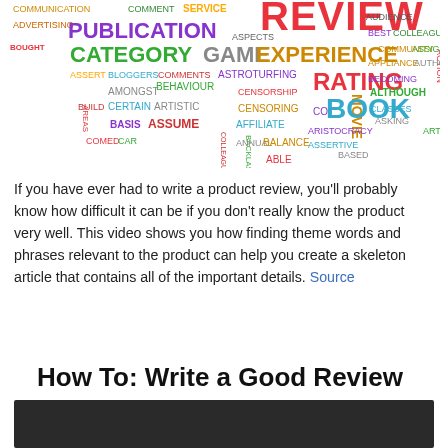[Figure (infographic): Word cloud containing terms related to product reviews such as REVIEW, PUBLICATION, CATEGORY, GAME, EXPERIENCE, RATING, BOOK, OBJECTIVE, and many others in various colors and sizes.]
If you have ever had to write a product review, you'll probably know how difficult it can be if you don't really know the product very well. This video shows you how finding theme words and phrases relevant to the product can help you create a skeleton article that contains all of the important details. Source
How To: Write a Good Review
[Figure (screenshot): Dark video thumbnail placeholder]